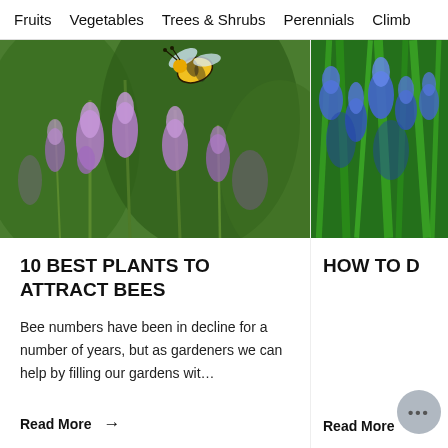Fruits   Vegetables   Trees & Shrubs   Perennials   Climb
[Figure (photo): Close-up photo of purple lavender flowers with a bumblebee hovering above, green bokeh background]
10 BEST PLANTS TO ATTRACT BEES
Bee numbers have been in decline for a number of years, but as gardeners we can help by filling our gardens wit…
Read More →
[Figure (photo): Close-up photo of blue/purple flowers (agapanthus or similar) with bright green grass-like leaves, green background]
HOW TO D
Read More